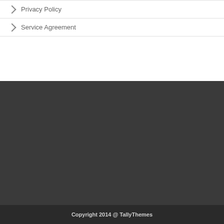Privacy Policy
Service Agreement
Copyright 2014 @ TallyThemes